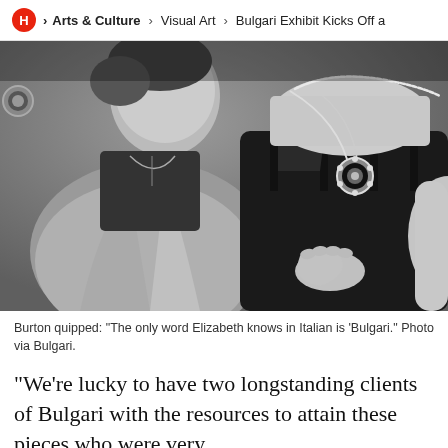H > Arts & Culture > Visual Art > Bulgari Exhibit Kicks Off a
[Figure (photo): Black and white photograph of a man in a blazer and a woman in a black dress wearing a prominent Bulgari necklace, the man is kissing or nuzzling the woman's face while embracing her.]
Burton quipped: "The only word Elizabeth knows in Italian is 'Bulgari." Photo via Bulgari.
“We’re lucky to have two longstanding clients of Bulgari with the resources to attain these pieces who were very